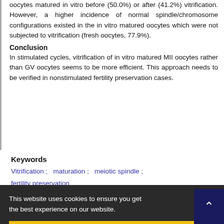oocytes matured in vitro before (50.0%) or after (41.2%) vitrification. However, a higher incidence of normal spindle/chromosome configurations existed in the in vitro matured oocytes which were not subjected to vitrification (fresh oocytes, 77.9%).
Conclusion
In stimulated cycles, vitrification of in vitro matured MII oocytes rather than GV oocytes seems to be more efficient. This approach needs to be verified in nonstimulated fertility preservation cases.
Keywords
Vitrification ;   maturation ;   meiotic spindle ;   fertility preservation
This website uses cookies to ensure you get the best experience on our website.
Got it!
The advent of vitrification in clinical practice has opene